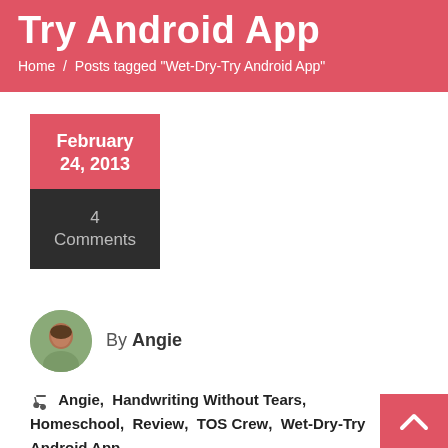Try Android App
Home / Posts tagged "Wet-Dry-Try Android App"
February 24, 2013
4 Comments
By Angie
Angie, Handwriting Without Tears, Homeschool, Review, TOS Crew, Wet-Dry-Try Android App